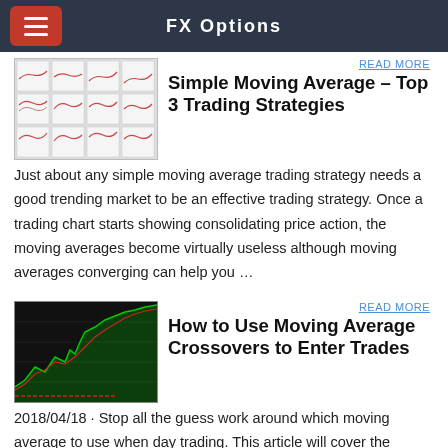FX Options
READ MORE
Simple Moving Average – Top 3 Trading Strategies
Just about any simple moving average trading strategy needs a good trending market to be an effective trading strategy. Once a trading chart starts showing consolidating price action, the moving averages become virtually useless although moving averages converging can help you …
READ MORE
How to Use Moving Average Crossovers to Enter Trades
2018/04/18 · Stop all the guess work around which moving average to use when day trading. This article will cover the details of how I use a moving averages to day trade breakouts and bitcoin futures. Learn how to identify the best moving average for your trading